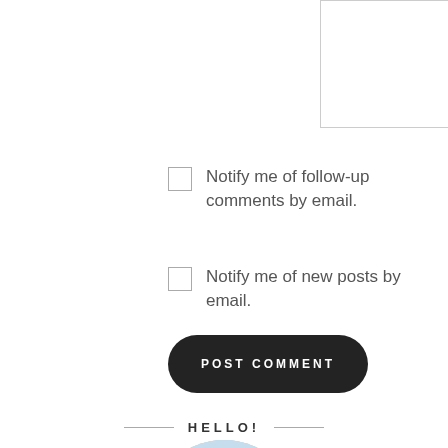[Figure (screenshot): Textarea input box with resize handle at bottom right]
Notify me of follow-up comments by email.
Notify me of new posts by email.
POST COMMENT
HELLO!
[Figure (photo): Circular avatar photo of a woman with dark hair, smiling, with a waterfront background]